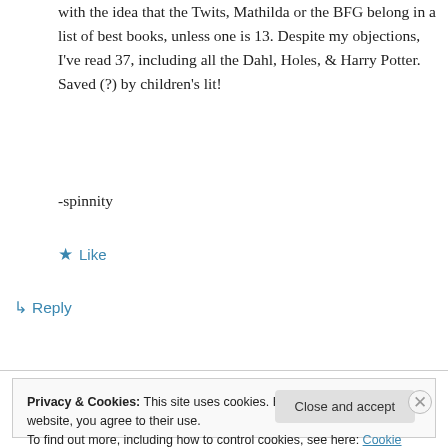with the idea that the Twits, Mathilda or the BFG belong in a list of best books, unless one is 13. Despite my objections, I've read 37, including all the Dahl, Holes, & Harry Potter. Saved (?) by children's lit!
-spinnity
★ Like
↳ Reply
Privacy & Cookies: This site uses cookies. By continuing to use this website, you agree to their use.
To find out more, including how to control cookies, see here: Cookie Policy
Close and accept